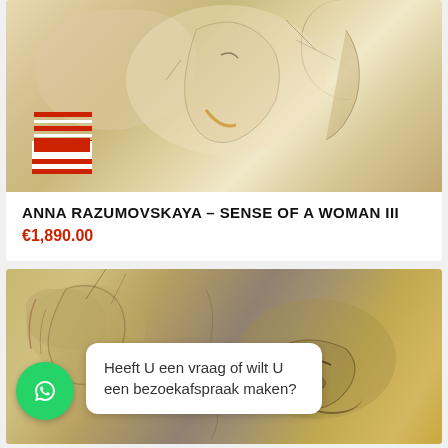[Figure (photo): Artwork painting showing a woman's face sketch with pencil lines, warm beige/cream tones, with red stripe elements in lower left corner]
ANNA RAZUMOVSKAYA – SENSE OF A WOMAN III
€1,890.00
[Figure (photo): Second artwork painting showing a woman's face with expressive eyes, mixed earth tones of yellow, ochre, brown and purple, textured style]
Heeft U een vraag of wilt U een bezoekafspraak maken?